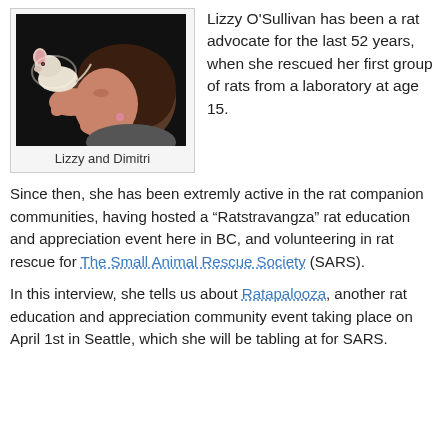[Figure (photo): Woman holding a small white rat up close to her face, looking at it affectionately, dark background.]
Lizzy and Dimitri
Lizzy O'Sullivan has been a rat advocate for the last 52 years, when she rescued her first group of rats from a laboratory at age 15.
Since then, she has been extremly active in the rat companion communities, having hosted a “Ratstravangza” rat education and appreciation event here in BC, and volunteering in rat rescue for The Small Animal Rescue Society (SARS).
In this interview, she tells us about Ratapalooza, another rat education and appreciation community event taking place on April 1st in Seattle, which she will be tabling at for SARS.